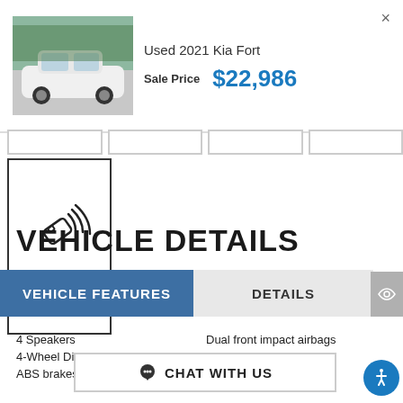[Figure (screenshot): Thumbnail of a white 2021 Kia Forte car in parking lot]
Used 2021 Kia Fort
Sale Price  $22,986
[Figure (illustration): Keyless entry icon with remote key fob emitting signal waves, labeled KEYLESS ENTRY]
VEHICLE DETAILS
VEHICLE FEATURES
DETAILS
4 Speakers
Dual front impact airbags
4-Wheel Disc Bra...
...side impact
ABS brakes
CHAT WITH US